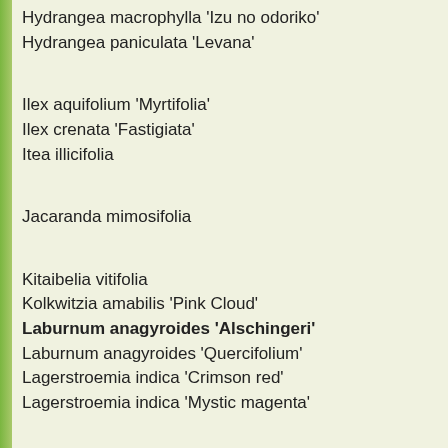Hydrangea macrophylla 'Izu no odoriko'
Hydrangea paniculata 'Levana'
Ilex aquifolium 'Myrtifolia'
Ilex crenata 'Fastigiata'
Itea illicifolia
Jacaranda mimosifolia
Kitaibelia vitifolia
Kolkwitzia amabilis 'Pink Cloud'
Laburnum anagyroides 'Alschingeri'
Laburnum anagyroides 'Quercifolium'
Lagerstroemia indica 'Crimson red'
Lagerstroemia indica 'Mystic magenta'